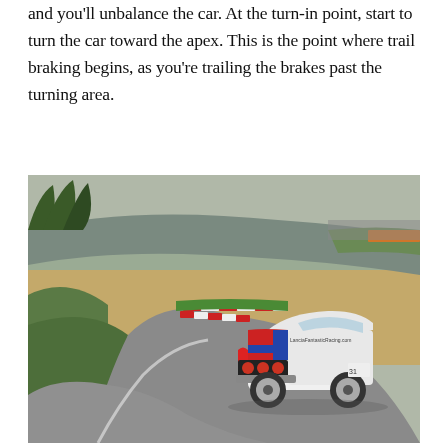and you'll unbalance the car. At the turn-in point, start to turn the car toward the apex. This is the point where trail braking begins, as you're trailing the brakes past the turning area.
[Figure (photo): A racing car with red, white, and blue livery navigating a curve on a racing circuit. The track has red and white kerbing on the inside, green grass areas, and brown runoff areas. Trees are visible in the background.]